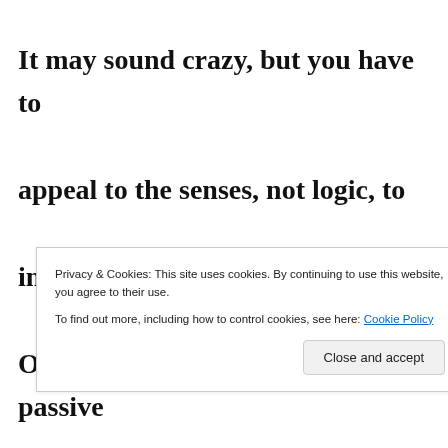It may sound crazy, but you have to appeal to the senses, not logic, to influence a person mentally here. Otherwise, they will be very passive
Privacy & Cookies: This site uses cookies. By continuing to use this website, you agree to their use. To find out more, including how to control cookies, see here: Cookie Policy
Close and accept